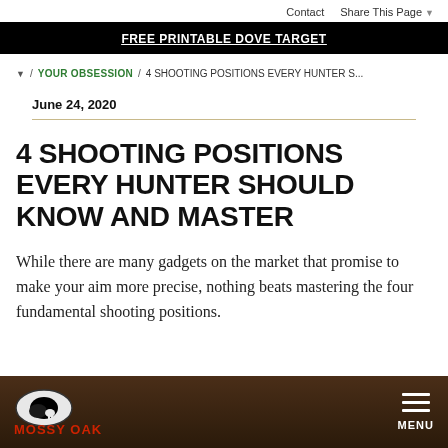Contact   Share This Page
FREE PRINTABLE DOVE TARGET
/ YOUR OBSESSION / 4 SHOOTING POSITIONS EVERY HUNTER S...
June 24, 2020
4 SHOOTING POSITIONS EVERY HUNTER SHOULD KNOW AND MASTER
While there are many gadgets on the market that promise to make your aim more precise, nothing beats mastering the four fundamental shooting positions.
MOSSY OAK   MENU